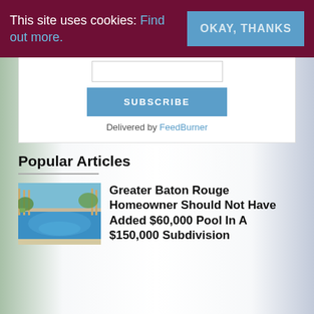This site uses cookies: Find out more. OKAY, THANKS
[Figure (screenshot): Subscribe input box and SUBSCRIBE button with 'Delivered by FeedBurner' text]
Delivered by FeedBurner
Popular Articles
[Figure (photo): Outdoor swimming pool with blue water, fenced yard, clear sky]
Greater Baton Rouge Homeowner Should Not Have Added $60,000 Pool In A $150,000 Subdivision